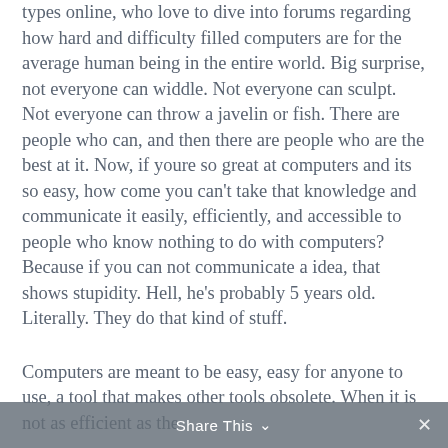types online, who love to dive into forums regarding how hard and difficulty filled computers are for the average human being in the entire world. Big surprise, not everyone can widdle. Not everyone can sculpt. Not everyone can throw a javelin or fish. There are people who can, and then there are people who are the best at it. Now, if youre so great at computers and its so easy, how come you can't take that knowledge and communicate it easily, efficiently, and accessible to people who know nothing to do with computers? Because if you can not communicate a idea, that shows stupidity. Hell, he's probably 5 years old. Literally. They do that kind of stuff.
Computers are meant to be easy, easy for anyone to use, a tool that makes other tools obsolete. When it is not as efficient as the
Share This